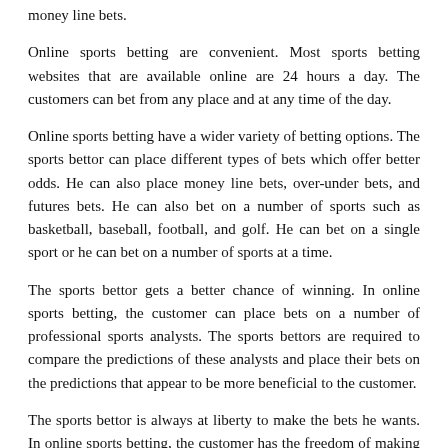money line bets.
Online sports betting are convenient. Most sports betting websites that are available online are 24 hours a day. The customers can bet from any place and at any time of the day.
Online sports betting have a wider variety of betting options. The sports bettor can place different types of bets which offer better odds. He can also place money line bets, over-under bets, and futures bets. He can also bet on a number of sports such as basketball, baseball, football, and golf. He can bet on a single sport or he can bet on a number of sports at a time.
The sports bettor gets a better chance of winning. In online sports betting, the customer can place bets on a number of professional sports analysts. The sports bettors are required to compare the predictions of these analysts and place their bets on the predictions that appear to be more beneficial to the customer.
The sports bettor is always at liberty to make the bets he wants. In online sports betting, the customer has the freedom of making the bets he wants. There are no restrictions in place on the type of bets he can place.